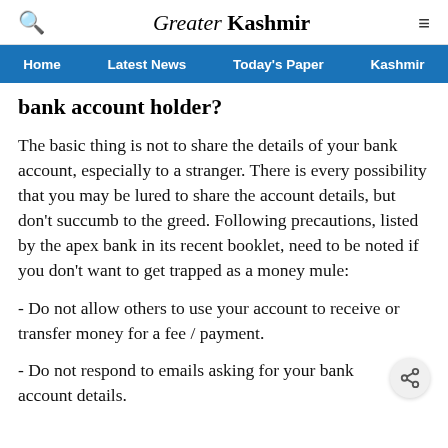Greater Kashmir
bank account holder?
The basic thing is not to share the details of your bank account, especially to a stranger. There is every possibility that you may be lured to share the account details, but don't succumb to the greed. Following precautions, listed by the apex bank in its recent booklet, need to be noted if you don't want to get trapped as a money mule:
- Do not allow others to use your account to receive or transfer money for a fee / payment.
- Do not respond to emails asking for your bank account details.